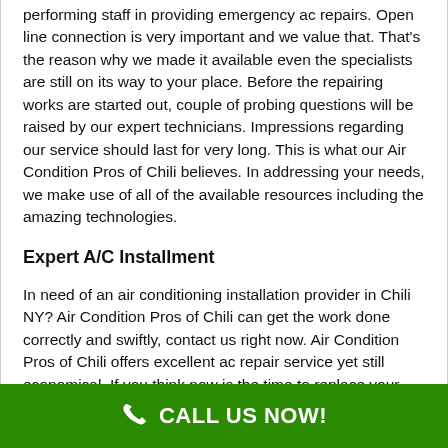performing staff in providing emergency ac repairs. Open line connection is very important and we value that. That's the reason why we made it available even the specialists are still on its way to your place. Before the repairing works are started out, couple of probing questions will be raised by our expert technicians. Impressions regarding our service should last for very long. This is what our Air Condition Pros of Chili believes. In addressing your needs, we make use of all of the available resources including the amazing technologies.
Expert A/C Installment
In need of an air conditioning installation provider in Chili NY? Air Condition Pros of Chili can get the work done correctly and swiftly, contact us right now. Air Condition Pros of Chili offers excellent ac repair service yet still economical. If you think now is the time to replace your troublesome unit, make sure you call us today. To arrange a scheduled visit
CALL US NOW!